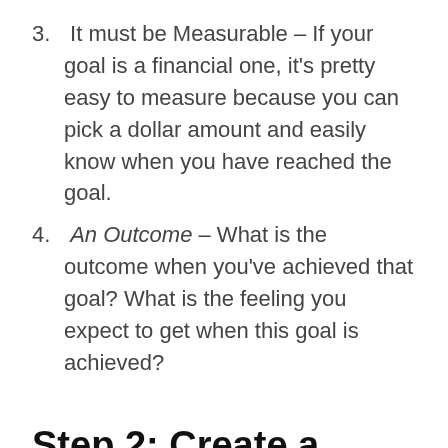3. It must be Measurable – If your goal is a financial one, it's pretty easy to measure because you can pick a dollar amount and easily know when you have reached the goal.
4. An Outcome – What is the outcome when you've achieved that goal? What is the feeling you expect to get when this goal is achieved?
Step 2: Create a Spending Plan